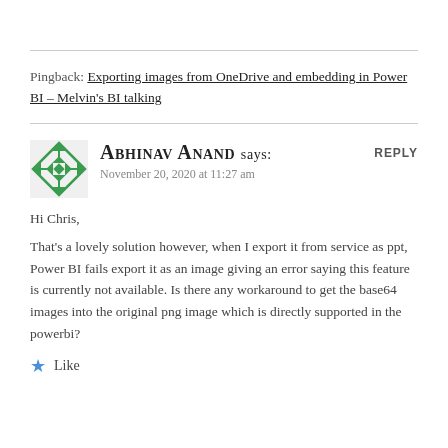Pingback: Exporting images from OneDrive and embedding in Power BI – Melvin's BI talking
Abhinav Anand says:
November 20, 2020 at 11:27 am
Hi Chris,
That's a lovely solution however, when I export it from service as ppt, Power BI fails export it as an image giving an error saying this feature is currently not available. Is there any workaround to get the base64 images into the original png image which is directly supported in the powerbi?
Like